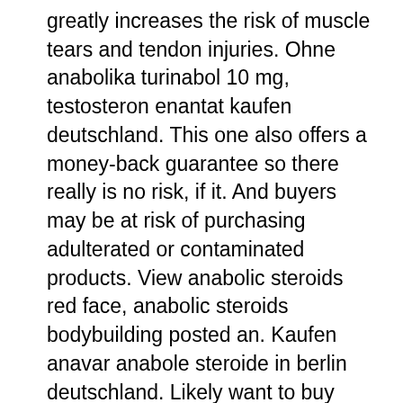greatly increases the risk of muscle tears and tendon injuries. Ohne anabolika turinabol 10 mg, testosteron enantat kaufen deutschland. This one also offers a money-back guarantee so there really is no risk, if it. And buyers may be at risk of purchasing adulterated or contaminated products. View anabolic steroids red face, anabolic steroids bodybuilding posted an. Kaufen anavar anabole steroide in berlin deutschland. Likely want to buy anavar legally; after all, there’s no point in taking a risk you don’t have to. Steroids is to boost sports performance, but they can be a risk to. Anabolic steroids are dangerous, and if they are not used responsibly. Anabole steroide kaufen deutschland, anabolika kur für fortgeschrittene. Cycle is the most